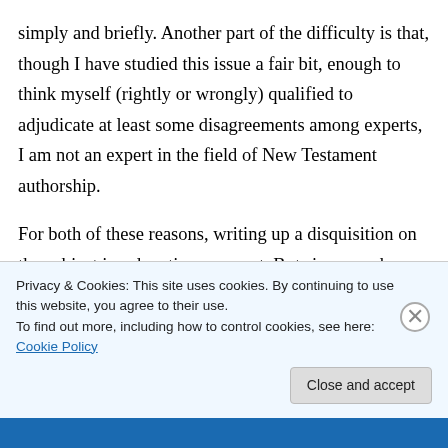simply and briefly. Another part of the difficulty is that, though I have studied this issue a fair bit, enough to think myself (rightly or wrongly) qualified to adjudicate at least some disagreements among experts, I am not an expert in the field of New Testament authorship.
For both of these reasons, writing up a disquisition on the subject is a daunting prospect. But since you have graciously offered, I will give the matter some thought.
Privacy & Cookies: This site uses cookies. By continuing to use this website, you agree to their use.
To find out more, including how to control cookies, see here: Cookie Policy